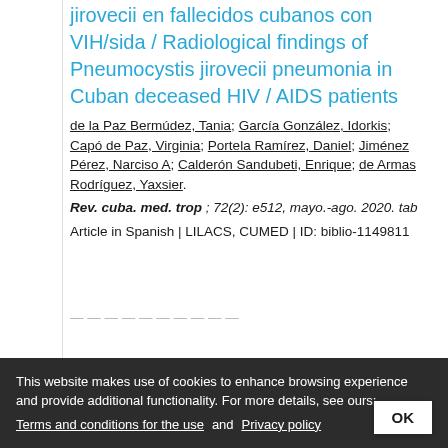jirovecii en fallecidos cubanos con VIH/sida / Radiological findings of Pneumocystis jirovecii pneumonia in Cuban deceased HIV / AIDS patients
de la Paz Bermúdez, Tania; García González, Idorkis; Capó de Paz, Virginia; Portela Ramírez, Daniel; Jiménez Pérez, Narciso A; Calderón Sandubeti, Enrique; de Armas Rodríguez, Yaxsier.
Rev. cuba. med. trop ; 72(2): e512, mayo.-ago. 2020. tab
Article in Spanish | LILACS, CUMED | ID: biblio-1149811
This website makes use of cookies to enhance browsing experience and provide additional functionality. For more details, see ours: Terms and conditions for the use and Privacy policy